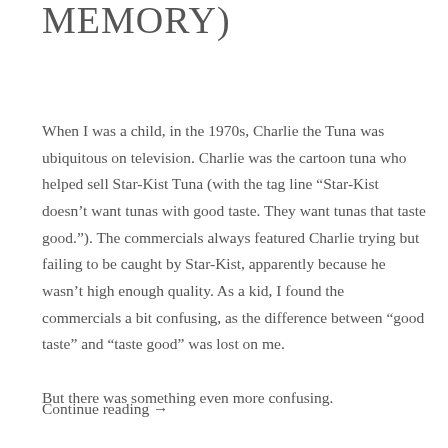MEMORY)
When I was a child, in the 1970s, Charlie the Tuna was ubiquitous on television. Charlie was the cartoon tuna who helped sell Star-Kist Tuna (with the tag line “Star-Kist doesn’t want tunas with good taste. They want tunas that taste good.”). The commercials always featured Charlie trying but failing to be caught by Star-Kist, apparently because he wasn’t high enough quality. As a kid, I found the commercials a bit confusing, as the difference between “good taste” and “taste good” was lost on me.
But there was something even more confusing.
Continue reading →